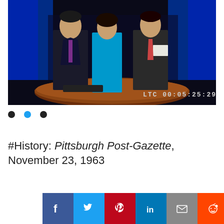[Figure (photo): Three TV news anchors standing behind a curved news desk in a studio with blue lighting. A timecode reads LTC 00:05:25:29 in the lower right corner.]
• • •
#History: Pittsburgh Post-Gazette, November 23, 1963